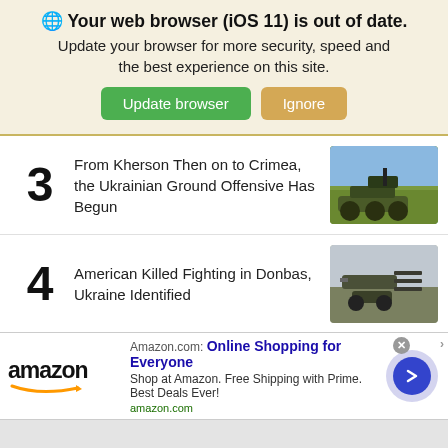🌐 Your web browser (iOS 11) is out of date. Update your browser for more security, speed and the best experience on this site. [Update browser] [Ignore]
3 From Kherson Then on to Crimea, the Ukrainian Ground Offensive Has Begun
4 American Killed Fighting in Donbas, Ukraine Identified
5 IS SIG MCX "Rattler" A Worthy Replacement For M4/M4A1?
[Figure (screenshot): Amazon advertisement banner: amazon logo, 'Online Shopping for Everyone', 'Shop at Amazon. Free Shipping with Prime. Best Deals Ever!', amazon.com, with a blue circular arrow button on the right and close/external link buttons.]